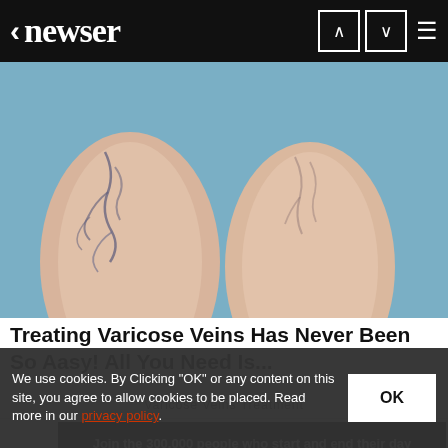< newser [navigation arrows and menu]
[Figure (photo): Close-up photo of two human legs showing varicose veins against a blue background]
Treating Varicose Veins Has Never Been So Aasy! All You Need Is...
Varicose Veins Treatment
Join the 300,000 people who start and end their day with newser newsletters
We use cookies. By Clicking "OK" or any content on this site, you agree to allow cookies to be placed. Read more in our privacy policy.